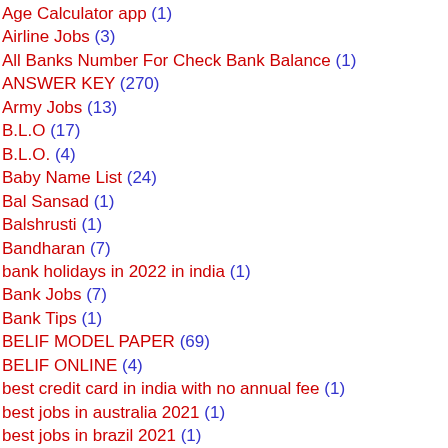Age Calculator app (1)
Airline Jobs (3)
All Banks Number For Check Bank Balance (1)
ANSWER KEY (270)
Army Jobs (13)
B.L.O (17)
B.L.O. (4)
Baby Name List (24)
Bal Sansad (1)
Balshrusti (1)
Bandharan (7)
bank holidays in 2022 in india (1)
Bank Jobs (7)
Bank Tips (1)
BELIF MODEL PAPER (69)
BELIF ONLINE (4)
best credit card in india with no annual fee (1)
best jobs in australia 2021 (1)
best jobs in brazil 2021 (1)